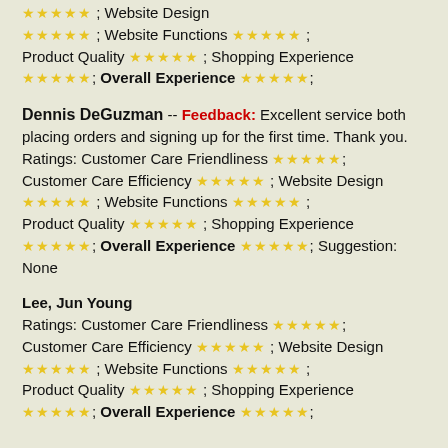Customer Care Efficiency ★★★★★; Website Design ★★★★★; Website Functions ★★★★★; Product Quality ★★★★★; Shopping Experience ★★★★★; Overall Experience ★★★★★;
Dennis DeGuzman -- Feedback: Excellent service both placing orders and signing up for the first time. Thank you. Ratings: Customer Care Friendliness ★★★★★; Customer Care Efficiency ★★★★★; Website Design ★★★★★; Website Functions ★★★★★; Product Quality ★★★★★; Shopping Experience ★★★★★; Overall Experience ★★★★★; Suggestion: None
Lee, Jun Young Ratings: Customer Care Friendliness ★★★★★; Customer Care Efficiency ★★★★★; Website Design ★★★★★; Website Functions ★★★★★; Product Quality ★★★★★; Shopping Experience ★★★★★; Overall Experience ★★★★★;